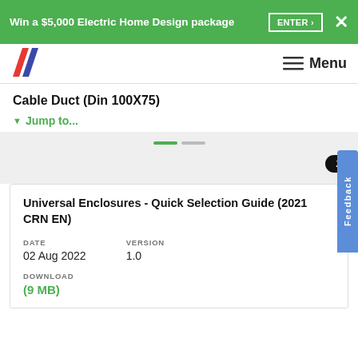Win a $5,000 Electric Home Design package  ENTER >  X
[Figure (logo): Two red and blue parallelogram logo shapes]
Menu
Cable Duct (Din 100X75)
▼ Jump to...
[Figure (screenshot): Gray section with mini tab indicators and ZIP button partially visible]
Universal Enclosures - Quick Selection Guide (2021 CRN EN)
DATE
02 Aug 2022
VERSION
1.0
DOWNLOAD
(9 MB)